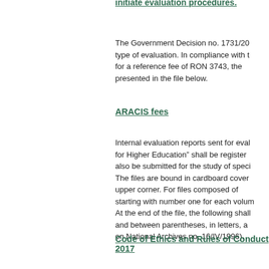initiate evaluation procedures.
The Government Decision no. 1731/20... type of evaluation. In compliance with t... for a reference fee of RON 3743, the... presented in the file below.
ARACIS fees
Internal evaluation reports sent for eval... for Higher Education” shall be register... also be submitted for the study of specia... The files are bound in cardboard cover... upper corner. For files composed of ... starting with number one for each volum... At the end of the file, the following shall... and between parentheses, in letters, a... on National Archives no. 16/IV/1996).
Code of Ethics and Rules of Conduct... 2017